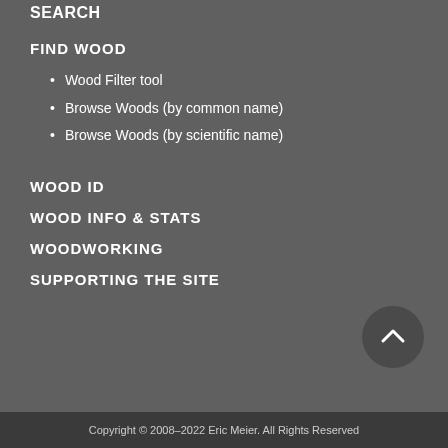SEARCH
FIND WOOD
Wood Filter tool
Browse Woods (by common name)
Browse Woods (by scientific name)
WOOD ID
WOOD INFO & STATS
WOODWORKING
SUPPORTING THE SITE
Copyright © 2008–2022 Eric Meier. All Rights Reserved